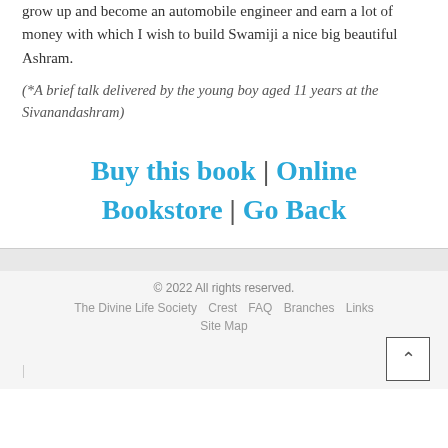grow up and become an automobile engineer and earn a lot of money with which I wish to build Swamiji a nice big beautiful Ashram.
(*A brief talk delivered by the young boy aged 11 years at the Sivanandashram)
Buy this book | Online Bookstore | Go Back
© 2022 All rights reserved. The Divine Life Society  Crest  FAQ  Branches  Links  Site Map